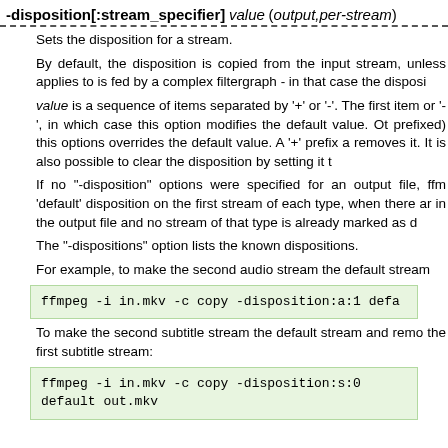-disposition[:stream_specifier] value (output,per-stream)
Sets the disposition for a stream.
By default, the disposition is copied from the input stream, unless applies to is fed by a complex filtergraph - in that case the disposi
value is a sequence of items separated by '+' or '-'. The first item or '-', in which case this option modifies the default value. Ot prefixed) this options overrides the default value. A '+' prefix a removes it. It is also possible to clear the disposition by setting it t
If no "-disposition" options were specified for an output file, ffm 'default' disposition on the first stream of each type, when there ar in the output file and no stream of that type is already marked as d
The "-dispositions" option lists the known dispositions.
For example, to make the second audio stream the default stream
[Figure (screenshot): Code block: ffmpeg -i in.mkv -c copy -disposition:a:1 defa]
To make the second subtitle stream the default stream and remo the first subtitle stream:
[Figure (screenshot): Code block: ffmpeg -i in.mkv -c copy -disposition:s:0 default out.mkv]